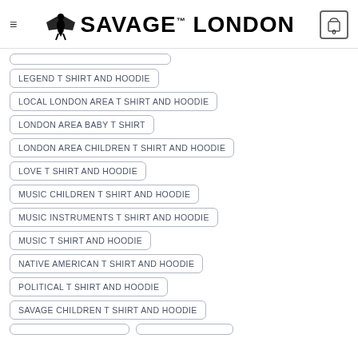SAVAGE LONDON
LEGEND T SHIRT AND HOODIE
LOCAL LONDON AREA T SHIRT AND HOODIE
LONDON AREA BABY T SHIRT
LONDON AREA CHILDREN T SHIRT AND HOODIE
LOVE T SHIRT AND HOODIE
MUSIC CHILDREN T SHIRT AND HOODIE
MUSIC INSTRUMENTS T SHIRT AND HOODIE
MUSIC T SHIRT AND HOODIE
NATIVE AMERICAN T SHIRT AND HOODIE
POLITICAL T SHIRT AND HOODIE
SAVAGE CHILDREN T SHIRT AND HOODIE